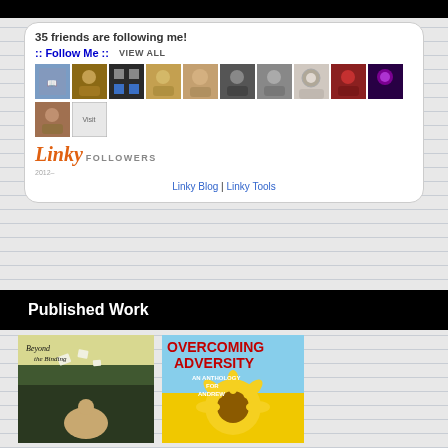35 friends are following me!
:: Follow Me ::  VIEW ALL
[Figure (screenshot): Grid of follower avatar photos, 10 across and 2 in second row]
[Figure (logo): Linky Followers logo with orange italic Linky text and gray FOLLOWERS label]
Linky Blog | Linky Tools
Published Work
[Figure (photo): Book cover: Beyond the Binding, showing woman reading in forest with flying pages]
[Figure (photo): Book cover: Overcoming Adversity - An Anthology for Andrew, with sunflower on sky background]